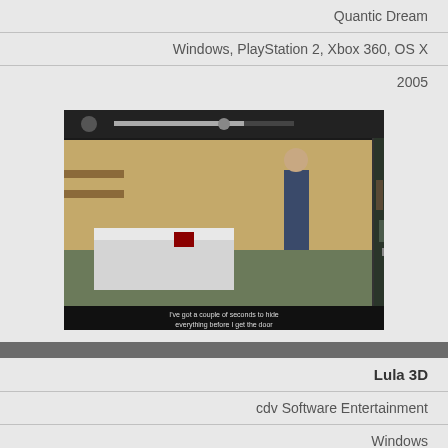Quantic Dream
Windows, PlayStation 2, Xbox 360, OS X
2005
[Figure (screenshot): Video game screenshot showing split-screen view of a character in a bedroom on the left and a hallway on the right, with subtitle text at the bottom reading 'I've got a couple of seconds to hide everything before I get the door']
Lula 3D
cdv Software Entertainment
Windows
2005
[Figure (screenshot): Partial video game screenshot showing a city street scene with buildings]